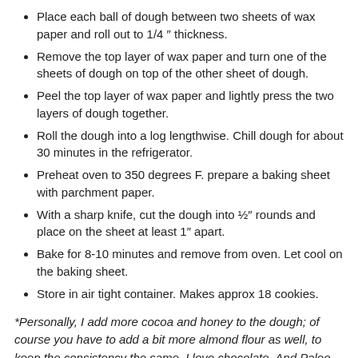Place each ball of dough between two sheets of wax paper and roll out to 1/4 ″ thickness.
Remove the top layer of wax paper and turn one of the sheets of dough on top of the other sheet of dough.
Peel the top layer of wax paper and lightly press the two layers of dough together.
Roll the dough into a log lengthwise. Chill dough for about 30 minutes in the refrigerator.
Preheat oven to 350 degrees F. prepare a baking sheet with parchment paper.
With a sharp knife, cut the dough into ½″ rounds and place on the sheet at least 1″ apart.
Bake for 8-10 minutes and remove from oven. Let cool on the baking sheet.
Store in air tight container. Makes approx 18 cookies.
*Personally, I add more cocoa and honey to the dough; of course you have to add a bit more almond flour as well, to keep the consistency the same. I love chocolate. And Paleo